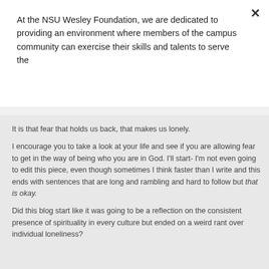At the NSU Wesley Foundation, we are dedicated to providing an environment where members of the campus community can exercise their skills and talents to serve the
Subscribe!
It is that fear that holds us back, that makes us lonely.
I encourage you to take a look at your life and see if you are allowing fear to get in the way of being who you are in God. I'll start- I'm not even going to edit this piece, even though sometimes I think faster than I write and this ends with sentences that are long and rambling and hard to follow but that is okay.
Did this blog start like it was going to be a reflection on the consistent presence of spirituality in every culture but ended on a weird rant over individual loneliness?